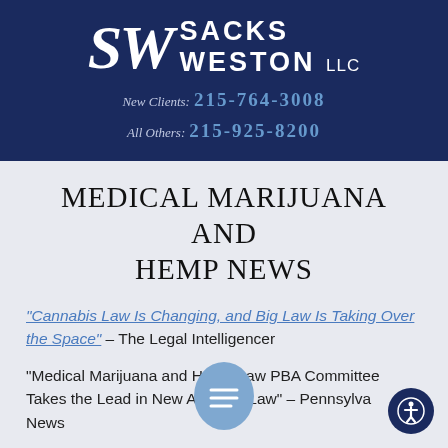[Figure (logo): Sacks Weston LLC law firm logo with SW initials and firm name on dark navy background, with phone numbers for New Clients: 215-764-3008 and All Others: 215-925-8200]
MEDICAL MARIJUANA AND HEMP NEWS
"Cannabis Law Is Changing, and Big Law Is Taking Over the Space" – The Legal Intelligencer
"Medical Marijuana and Hemp Law PBA Committee Takes the Lead in New Areas of Law" – Pennsylvania Bar News